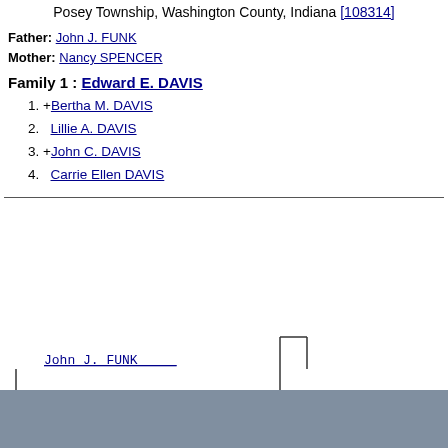Posey Township, Washington County, Indiana [108314]
Father: John J. FUNK
Mother: Nancy SPENCER
Family 1 : Edward E. DAVIS
1. +Bertha M. DAVIS
2.   Lillie A. DAVIS
3. +John C. DAVIS
4.   Carrie Ellen DAVIS
[Figure (flowchart): Genealogy pedigree tree showing John J. FUNK and Nancy SPENCER as parents of Elizabeth Jane FUNK (1853-1910). Lines connect parents to child in a bracket-style family tree diagram.]